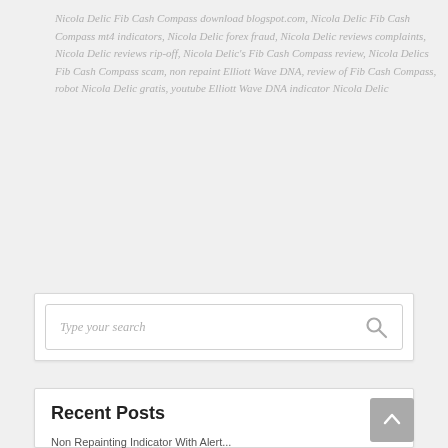Nicola Delic Fib Cash Compass download blogspot.com, Nicola Delic Fib Cash Compass mt4 indicators, Nicola Delic forex fraud, Nicola Delic reviews complaints, Nicola Delic reviews rip-off, Nicola Delic's Fib Cash Compass review, Nicola Delics Fib Cash Compass scam, non repaint Elliott Wave DNA, review of Fib Cash Compass, robot Nicola Delic gratis, youtube Elliott Wave DNA indicator Nicola Delic
Type your search
Recent Posts